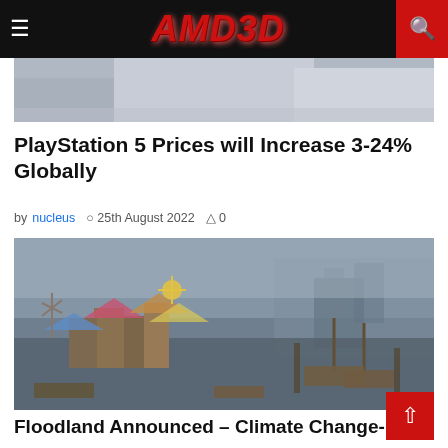AMD3D
[Figure (photo): Partial cropped image strip from PS5 article, showing a blurred/partial photo]
PlayStation 5 Prices will Increase 3-24% Globally
by nucleus  25th August 2022  0
[Figure (photo): Fantasy/post-apocalyptic game screenshot showing a flooded medieval settlement with ships, market stalls, fog, and a cliff in the background — likely from the game Floodland]
Floodland Announced – Climate Change-